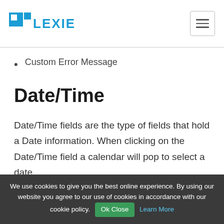FLEXIE
Custom Error Message
Date/Time
Date/Time fields are the type of fields that hold a Date information. When clicking on the Date/Time field a calendar will pop to select a date
This field can have a default date/time
We use cookies to give you the best online experience. By using our website you agree to our use of cookies in accordance with our cookie policy. Ok Close Learn More